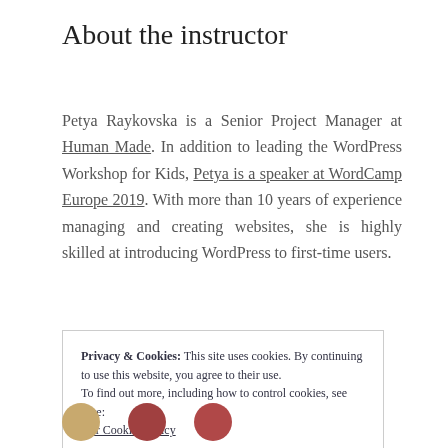About the instructor
Petya Raykovska is a Senior Project Manager at Human Made. In addition to leading the WordPress Workshop for Kids, Petya is a speaker at WordCamp Europe 2019. With more than 10 years of experience managing and creating websites, she is highly skilled at introducing WordPress to first-time users.
Privacy & Cookies: This site uses cookies. By continuing to use this website, you agree to their use.
To find out more, including how to control cookies, see here: Our Cookies Policy
Close and accept